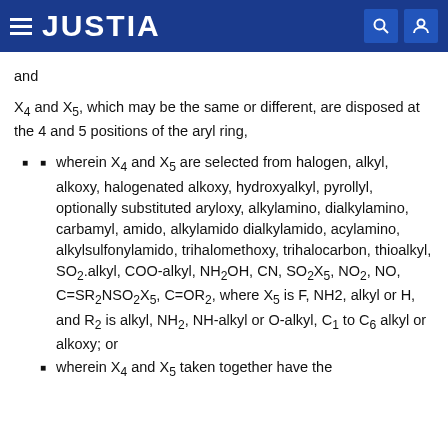JUSTIA
and
X4 and X5, which may be the same or different, are disposed at the 4 and 5 positions of the aryl ring,
wherein X4 and X5 are selected from halogen, alkyl, alkoxy, halogenated alkoxy, hydroxyalkyl, pyrollyl, optionally substituted aryloxy, alkylamino, dialkylamino, carbamyl, amido, alkylamido dialkylamido, acylamino, alkylsulfonylamido, trihalomethoxy, trihalocarbon, thioalkyl, SO2.alkyl, COO-alkyl, NH2OH, CN, SO2X5, NO2, NO, C=SR2NSO2X5, C=OR2, where X5 is F, NH2, alkyl or H, and R2 is alkyl, NH2, NH-alkyl or O-alkyl, C1 to C6 alkyl or alkoxy; or
wherein X4 and X5 taken together have the